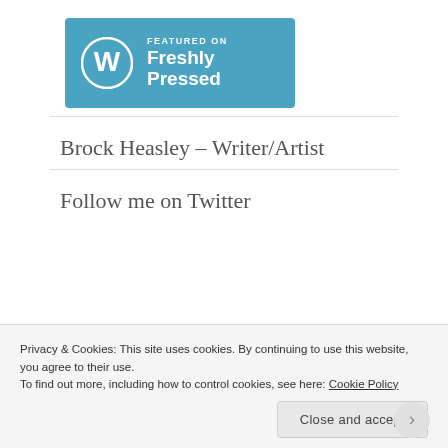[Figure (logo): WordPress 'Featured on Freshly Pressed' badge — blue rectangle with WordPress W logo circle on left and white text 'FEATURED ON Freshly Pressed' on right]
Brock Heasley – Writer/Artist
Follow me on Twitter
Privacy & Cookies: This site uses cookies. By continuing to use this website, you agree to their use.
To find out more, including how to control cookies, see here: Cookie Policy
Close and accept